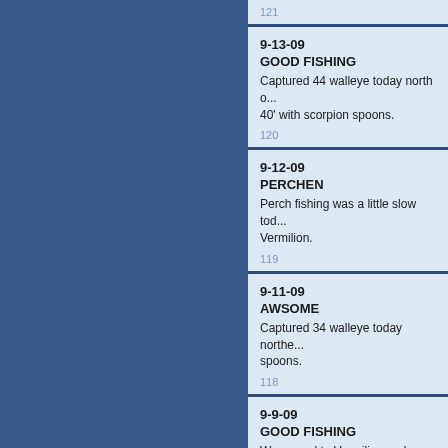121
9-13-09
GOOD FISHING
Captured 44 walleye today north of ... 40' with scorpion spoons.
120
9-12-09
PERCHEN
Perch fishing was a little slow today ... Vermilion.
119
9-11-09
AWSOME
Captured 34 walleye today northe... spoons.
118
9-9-09
GOOD FISHING
We moved to Vermilion and ran o... Vermilion and west of the sandbar... 50' jets back 35' to 55' with scorpi...